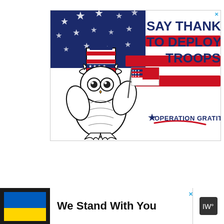[Figure (illustration): Operation Gratitude advertisement banner. Features a cartoon owl wearing a patriotic Uncle Sam hat and holding a small American flag, set against a background of an American flag with navy blue star field and red/white stripes. Text reads 'SAY THANK YOU TO DEPLOYED TROOPS' in large navy blue letters on the right side. Operation Gratitude logo appears in the lower right with a blue star and red swoosh.]
[Figure (illustration): Ukraine solidarity advertisement banner. Shows a black background on the left with a Ukrainian flag (blue over yellow rectangle) followed by white area with bold text 'We Stand With You' and a close X button, and a dark icon on the far right.]